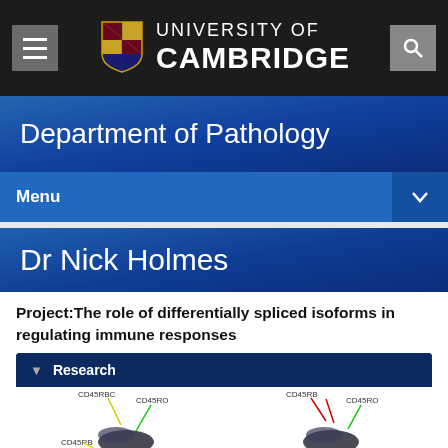[Figure (logo): University of Cambridge logo with shield and text in top navigation bar]
Department of Pathology
Menu
Dr Nick Holmes
Project:The role of differentially spliced isoforms in regulating immune responses
Research
[Figure (illustration): Scientific diagram showing CD45 isoforms including CD45RBC, CD45RO, CD45RB labels with colored arrows]